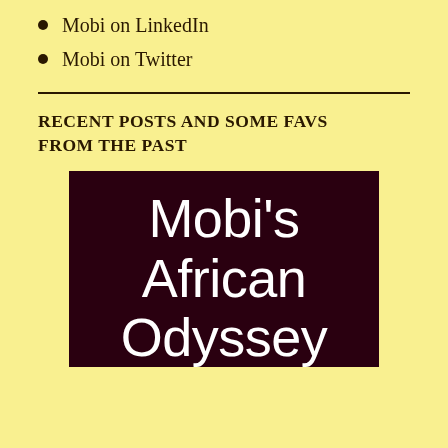Mobi on LinkedIn
Mobi on Twitter
RECENT POSTS AND SOME FAVS FROM THE PAST
[Figure (illustration): Dark maroon square image with large white thin-font text reading: Mobi's African Odyssey]